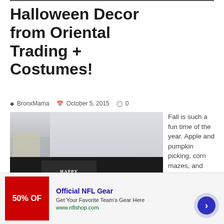Halloween Decor from Oriental Trading + Costumes!
BronxMama   October 5, 2015   0
[Figure (photo): Halloween-themed table display with a 'Happy Haunting' framed sign, black candles, skeleton arm, and a black wreath on the wall. An 'infolinks' label appears at the bottom left of the image.]
Fall is such a fun time of the year. Apple and pumpkin picking, corn mazes, and Halloween!
[Figure (screenshot): Advertisement for Official NFL Gear: '30% OFF', 'Official NFL Gear', 'Get Your Favorite Team's Gear Here', 'www.nflshop.com', with a close button and arrow navigation button.]